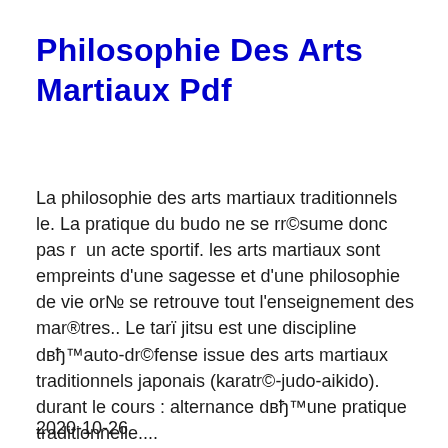Philosophie Des Arts Martiaux Pdf
La philosophie des arts martiaux traditionnels le. La pratique du budo ne se rr©sume donc pas r  un acte sportif. les arts martiaux sont empreints d'une sagesse et d'une philosophie de vie оr№ se retrouve tout l'enseignement des mar®tres.. Le tarï jitsu est une discipline dвђ™auto-dr©fense issue des arts martiaux traditionnels japonais (karatr©-judo-aikido). durant le cours : alternance dвђ™une pratique traditionnelle....
2020-10-26